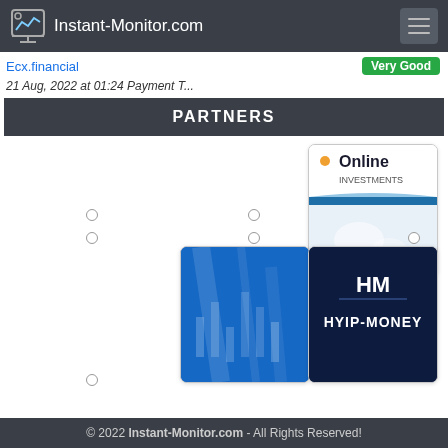Instant-Monitor.com
Ecx.financial
Very Good
21 Aug, 2022 at 01:24 Payment T...
PARTNERS
[Figure (illustration): Online Investments partner banner - white/light blue background with 'Online INVESTMENTS' text and blue diagonal stripe graphic]
[Figure (illustration): Blue abstract/financial chart banner with bright blue background and white light streaks]
[Figure (illustration): HYIP-Money partner banner - dark navy blue background with 'HM HYIP-MONEY' logo in white]
© 2022 Instant-Monitor.com - All Rights Reserved!